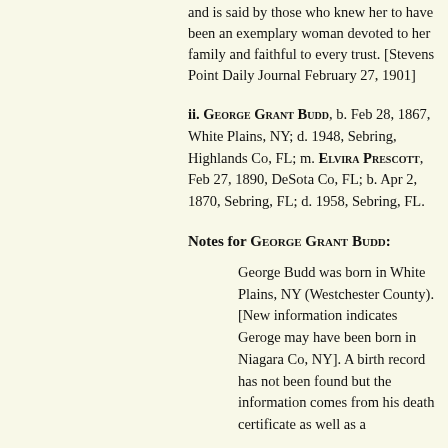and is said by those who knew her to have been an exemplary woman devoted to her family and faithful to every trust. [Stevens Point Daily Journal February 27, 1901]
ii. George Grant Budd, b. Feb 28, 1867, White Plains, NY; d. 1948, Sebring, Highlands Co, FL; m. Elvira Prescott, Feb 27, 1890, DeSota Co, FL; b. Apr 2, 1870, Sebring, FL; d. 1958, Sebring, FL.
Notes for George Grant Budd:
George Budd was born in White Plains, NY (Westchester County). [New information indicates Geroge may have been born in Niagara Co, NY]. A birth record has not been found but the information comes from his death certificate as well as a